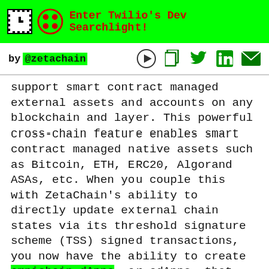Enter Twilio's Dev Searchlight!
by @zetachain
support smart contract managed external assets and accounts on any blockchain and layer. This powerful cross-chain feature enables smart contract managed native assets such as Bitcoin, ETH, ERC20, Algorand ASAs, etc. When you couple this with ZetaChain’s ability to directly update external chain states via its threshold signature scheme (TSS) signed transactions, you now have the ability to create omnichain dApps, or odApps, that can support arbitrary logic designed to conditionally execute on those external chains natively and directly (without wrapping or bridging assets). Therefore, Omnichain Accounts are a precondition for any blockchain that claims to have generic omnichain